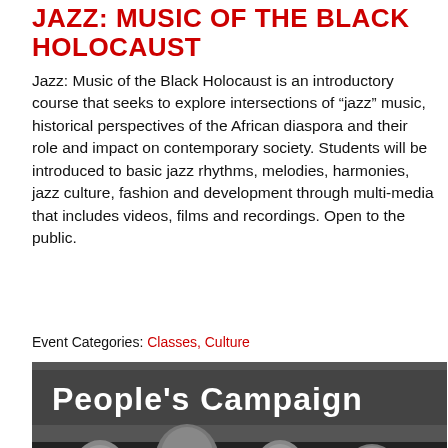JAZZ: MUSIC OF THE BLACK HOLOCAUST
Jazz: Music of the Black Holocaust is an introductory course that seeks to explore intersections of “jazz” music, historical perspectives of the African diaspora and their role and impact on contemporary society. Students will be introduced to basic jazz rhythms, melodies, harmonies, jazz culture, fashion and development through multi-media that includes videos, films and recordings. Open to the public.
Event Categories: Classes, Culture
[Figure (photo): Black and white photograph of performers on stage at a People's Campaign event, showing four women singing and dancing with expressive gestures]
APRIL 1, 2019 @ 7:00 PM